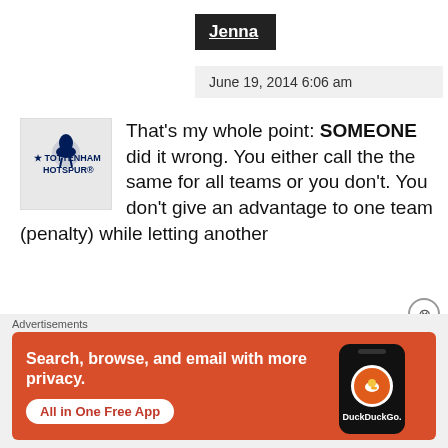Jenna
June 19, 2014 6:06 am
[Figure (logo): Tottenham Hotspur logo on a light grey background]
That's my whole point: SOMEONE did it wrong. You either call the the same for all teams or you don't. You don't give an advantage to one team (penalty) while letting another
Advertisements
[Figure (screenshot): DuckDuckGo advertisement: Search, browse, and email with more privacy. All in One Free App.]